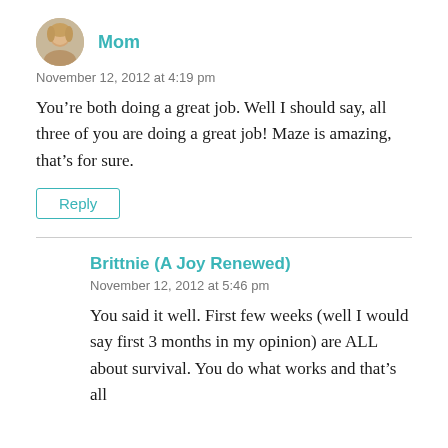Mom
November 12, 2012 at 4:19 pm
You’re both doing a great job. Well I should say, all three of you are doing a great job! Maze is amazing, that’s for sure.
Reply
Brittnie (A Joy Renewed)
November 12, 2012 at 5:46 pm
You said it well. First few weeks (well I would say first 3 months in my opinion) are ALL about survival. You do what works and that’s all